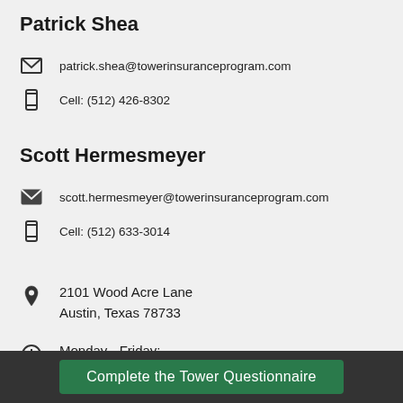Patrick Shea
patrick.shea@towerinsuranceprogram.com
Cell: (512) 426-8302
Scott Hermesmeyer
scott.hermesmeyer@towerinsuranceprogram.com
Cell: (512) 633-3014
2101 Wood Acre Lane
Austin, Texas 78733
Monday - Friday:
8:00am - 6:00pm (CST)
Complete the Tower Questionnaire